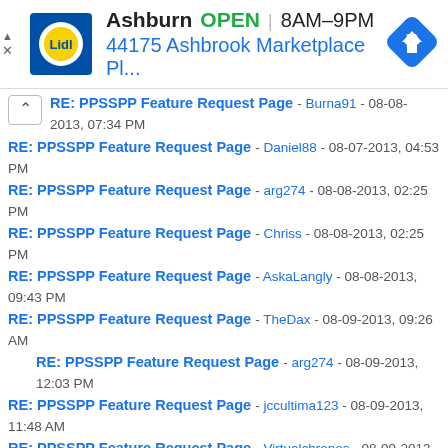[Figure (screenshot): Lidl store advertisement banner showing Ashburn location, OPEN 8AM-9PM, address 44175 Ashbrook Marketplace Pl... with navigation icon]
RE: PPSSPP Feature Request Page - Burna91 - 08-08-2013, 07:34 PM
RE: PPSSPP Feature Request Page - Daniel88 - 08-07-2013, 04:53 PM
RE: PPSSPP Feature Request Page - arg274 - 08-08-2013, 02:25 PM
RE: PPSSPP Feature Request Page - Chriss - 08-08-2013, 02:25 PM
RE: PPSSPP Feature Request Page - AskaLangly - 08-08-2013, 09:43 PM
RE: PPSSPP Feature Request Page - TheDax - 08-09-2013, 09:26 AM
RE: PPSSPP Feature Request Page - arg274 - 08-09-2013, 12:03 PM
RE: PPSSPP Feature Request Page - jccultima123 - 08-09-2013, 11:48 AM
RE: PPSSPP Feature Request Page - Virtualchronos - 08-09-2013, 11:26 PM
RE: PPSSPP Feature Request Page - TheDax - 08-09-2013, 11:31 PM
RE: PPSSPP Feature Request Page - theonyxphoenix - 08-10-2013, 01:00 AM